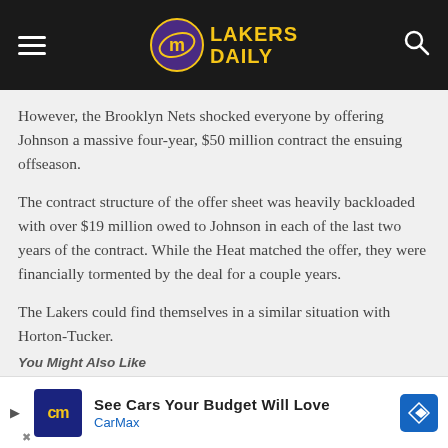Lakers Daily
However, the Brooklyn Nets shocked everyone by offering Johnson a massive four-year, $50 million contract the ensuing offseason.
The contract structure of the offer sheet was heavily backloaded with over $19 million owed to Johnson in each of the last two years of the contract. While the Heat matched the offer, they were financially tormented by the deal for a couple years.
The Lakers could find themselves in a similar situation with Horton-Tucker.
You Might Also Like
See Cars Your Budget Will Love — CarMax